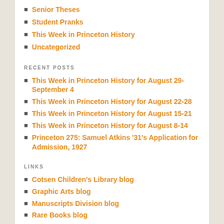Senior Theses
Student Pranks
This Week in Princeton History
Uncategorized
RECENT POSTS
This Week in Princeton History for August 29-September 4
This Week in Princeton History for August 22-28
This Week in Princeton History for August 15-21
This Week in Princeton History for August 8-14
Princeton 275: Samuel Atkins '31's Application for Admission, 1927
LINKS
Cotsen Children's Library blog
Graphic Arts blog
Manuscripts Division blog
Rare Books blog
Reference Services blog
Special Collections blog